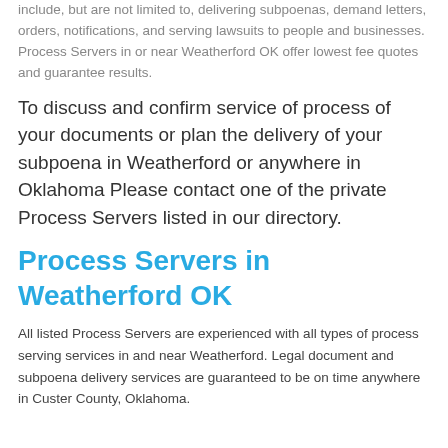include, but are not limited to, delivering subpoenas, demand letters, orders, notifications, and serving lawsuits to people and businesses. Process Servers in or near Weatherford OK offer lowest fee quotes and guarantee results.
To discuss and confirm service of process of your documents or plan the delivery of your subpoena in Weatherford or anywhere in Oklahoma Please contact one of the private Process Servers listed in our directory.
Process Servers in Weatherford OK
All listed Process Servers are experienced with all types of process serving services in and near Weatherford. Legal document and subpoena delivery services are guaranteed to be on time anywhere in Custer County, Oklahoma.